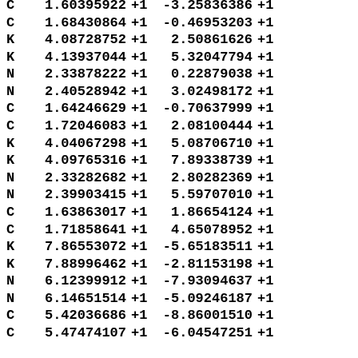| C | 1.60395922 | +1 | -3.25836386 | +1 |
| C | 1.68430864 | +1 | -0.46953203 | +1 |
| K | 4.08728752 | +1 | 2.50861626 | +1 |
| K | 4.13937044 | +1 | 5.32047794 | +1 |
| N | 2.33878222 | +1 | 0.22879038 | +1 |
| N | 2.40528942 | +1 | 3.02498172 | +1 |
| C | 1.64246629 | +1 | -0.70637999 | +1 |
| C | 1.72046083 | +1 | 2.08100444 | +1 |
| K | 4.04067298 | +1 | 5.08706710 | +1 |
| K | 4.09765316 | +1 | 7.89338739 | +1 |
| N | 2.33282682 | +1 | 2.80282369 | +1 |
| N | 2.39903415 | +1 | 5.59707010 | +1 |
| C | 1.63863017 | +1 | 1.86654124 | +1 |
| C | 1.71858641 | +1 | 4.65078952 | +1 |
| K | 7.86553072 | +1 | -5.65183511 | +1 |
| K | 7.88996462 | +1 | -2.81153198 | +1 |
| N | 6.12399912 | +1 | -7.93094637 | +1 |
| N | 6.14651514 | +1 | -5.09246187 | +1 |
| C | 5.42036686 | +1 | -8.86001510 | +1 |
| C | 5.47474107 | +1 | -6.04547251 | +1 |